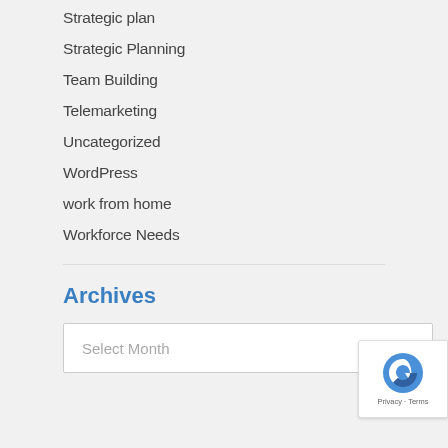Strategic plan
Strategic Planning
Team Building
Telemarketing
Uncategorized
WordPress
work from home
Workforce Needs
Archives
Select Month